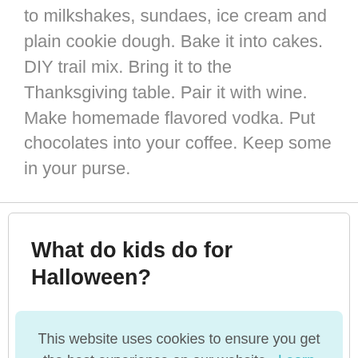to milkshakes, sundaes, ice cream and plain cookie dough. Bake it into cakes. DIY trail mix. Bring it to the Thanksgiving table. Pair it with wine. Make homemade flavored vodka. Put chocolates into your coffee. Keep some in your purse.
What do kids do for Halloween?
This website uses cookies to ensure you get the best experience on our website. Learn more
Got it!